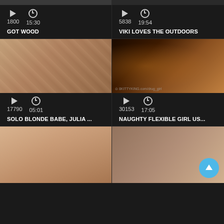[Figure (screenshot): Video thumbnail grid showing adult content video listings with play counts and durations]
1800  15:30
GOT WOOD
5838  19:54
VIKI LOVES THE OUTDOORS
17790  05:01
SOLO BLONDE BABE, JULIA ...
30153  17:05
NAUGHTY FLEXIBLE GIRL US...